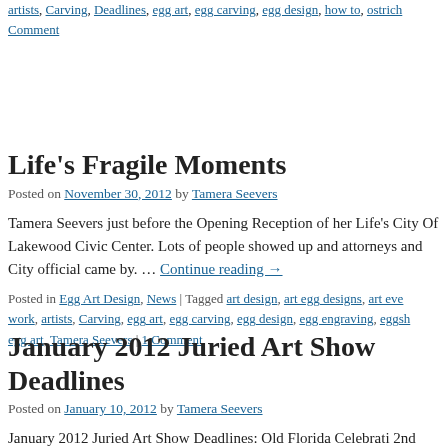artists, Carving, Deadlines, egg art, egg carving, egg design, how to, ostrich … Comment
Life's Fragile Moments
Posted on November 30, 2012 by Tamera Seevers
Tamera Seevers just before the Opening Reception of her Life's City Of Lakewood Civic Center. Lots of people showed up and attorneys and City official came by. … Continue reading →
Posted in Egg Art Design, News | Tagged art design, art egg designs, art eve work, artists, Carving, egg art, egg carving, egg design, egg engraving, eggsh egg art, Tamera Seevers | 1 Comment
January 2012 Juried Art Show Deadlines
Posted on January 10, 2012 by Tamera Seevers
January 2012 Juried Art Show Deadlines: Old Florida Celebrati 2nd Street Florida South East Region Application Deadline: 1/1 Broadside Art Annual 2012 63 depot Broadside Kansas City M